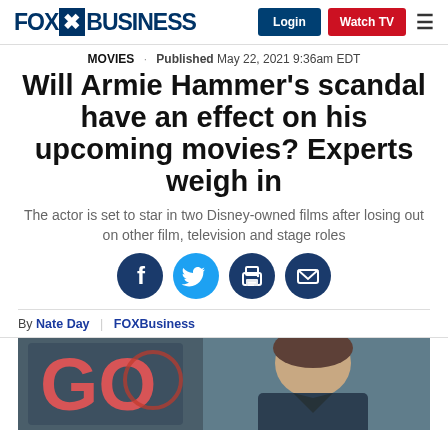FOX BUSINESS | Login | Watch TV
MOVIES · Published May 22, 2021 9:36am EDT
Will Armie Hammer's scandal have an effect on his upcoming movies? Experts weigh in
The actor is set to star in two Disney-owned films after losing out on other film, television and stage roles
[Figure (infographic): Four social sharing icons: Facebook, Twitter, Print, Email]
By Nate Day | FOXBusiness
[Figure (photo): Photo of Armie Hammer in front of a 'GO' backdrop sign, wearing dark attire, cropped at article top]